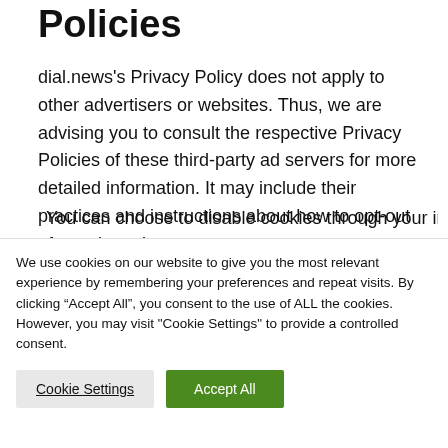Policies
dial.news's Privacy Policy does not apply to other advertisers or websites. Thus, we are advising you to consult the respective Privacy Policies of these third-party ad servers for more detailed information. It may include their practices and instructions about how to opt-out of certain options.
We use cookies on our website to give you the most relevant experience by remembering your preferences and repeat visits. By clicking “Accept All”, you consent to the use of ALL the cookies. However, you may visit "Cookie Settings" to provide a controlled consent.
Cookie Settings | Accept All